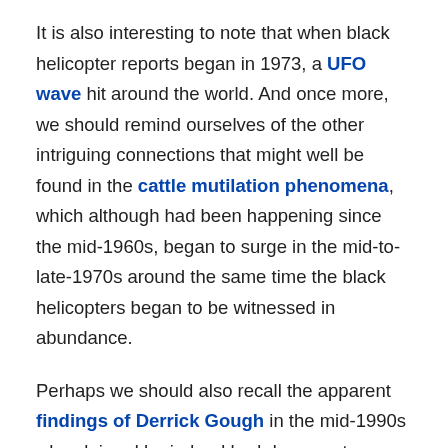It is also interesting to note that when black helicopter reports began in 1973, a UFO wave hit around the world. And once more, we should remind ourselves of the other intriguing connections that might well be found in the cattle mutilation phenomena, which although had been happening since the mid-1960s, began to surge in the mid-to-late-1970s around the same time the black helicopters began to be witnessed in abundance.
Perhaps we should also recall the apparent findings of Derrick Gough in the mid-1990s who claimed he indeed had documents leaked to him that suggested a joint secret UK-US military operation that was designed to cover up all manner of UFO activity. And what's more, part of these operations was to secure certain areas after being alerted